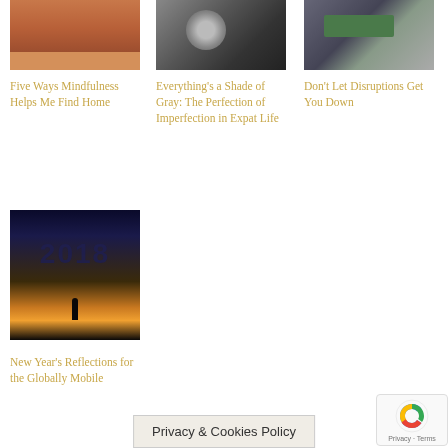[Figure (photo): Photo of a building with terracotta/orange tones]
[Figure (photo): Black and white photo of moon or planet]
[Figure (photo): Photo with green sign in snowy/mountainous setting]
Five Ways Mindfulness Helps Me Find Home
Everything's a Shade of Gray: The Perfection of Imperfection in Expat Life
Don't Let Disruptions Get You Down
[Figure (photo): 2018 New Year image with silhouette against sunset sky]
New Year's Reflections for the Globally Mobile
Privacy & Cookies Policy